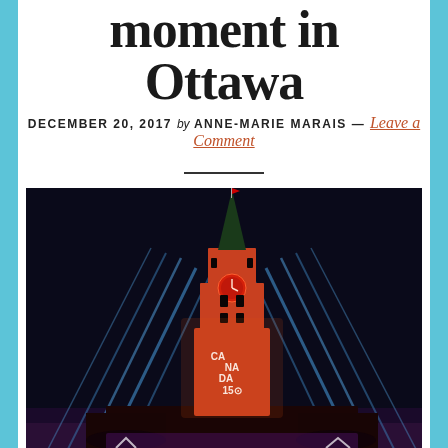moment in Ottawa
DECEMBER 20, 2017 by ANNE-MARIE MARAIS — Leave a Comment
[Figure (photo): Night photo of the Peace Tower on Parliament Hill in Ottawa, illuminated in red/orange light with blue searchlight beams radiating outward. A 'CANADA 150' logo is projected on the tower. Crowd visible at the base. Dark night sky background.]